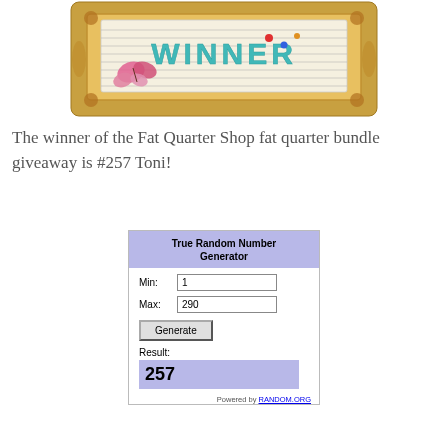[Figure (illustration): Decorative gold ornate picture frame with 'WINNER' text in teal/turquoise letters on a striped background, with a pink butterfly and colorful dots decoration.]
The winner of the Fat Quarter Shop fat quarter bundle giveaway is #257 Toni!
[Figure (screenshot): True Random Number Generator widget showing Min: 1, Max: 290, Generate button, Result: 257, Powered by RANDOM.ORG]